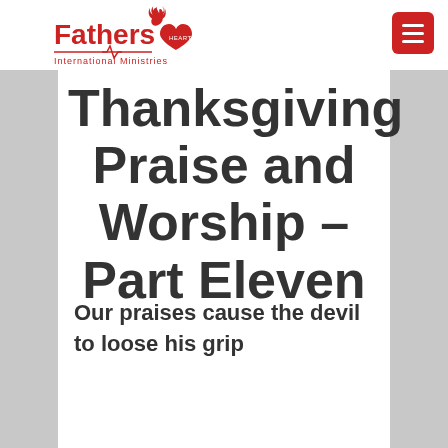Fathers Heart International Ministries
Thanksgiving Praise and Worship – Part Eleven
Our praises cause the devil to loose his grip